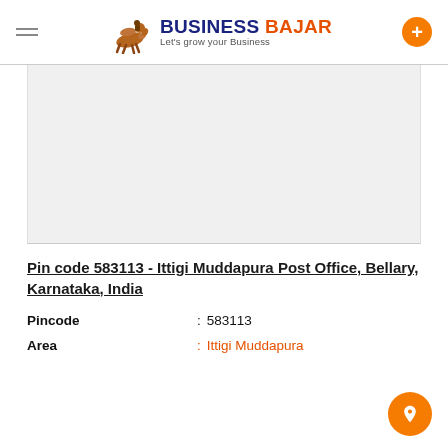BUSINESS BAJAR — Let's grow your Business
[Figure (other): Advertisement or blank content area with light grey background]
Pin code 583113 - Ittigi Muddapura Post Office, Bellary, Karnataka, India
Pincode : 583113
Area : Ittigi Muddapura